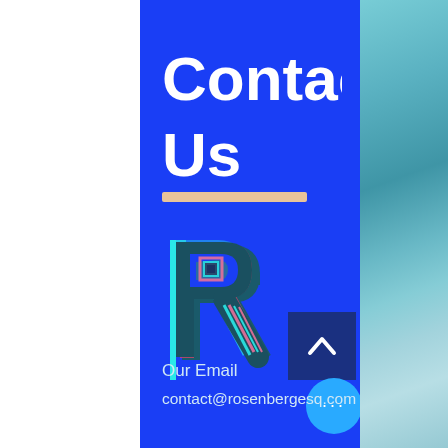Contact Us
[Figure (logo): Stylized glitch-effect letter R logo with cyan, pink, and dark teal layers]
Our Email
contact@rosenbergesq.com